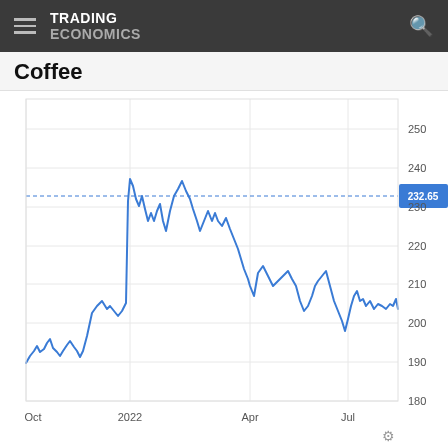TRADING ECONOMICS
Coffee
[Figure (continuous-plot): Line chart of Coffee prices from October 2021 through approximately August 2022. Y-axis ranges from 180 to 250. The line starts around 183 in early Oct, rises to about 245 peak in early 2022, dips to ~230, rises again to ~260 peak around Feb 2022, then falls through Apr area to ~195, recovers to ~240, falls again to ~200 low around late July 2022, then rebounds to ~248. A horizontal dashed blue line indicates current price of 232.65 shown in a blue label on the right axis.]